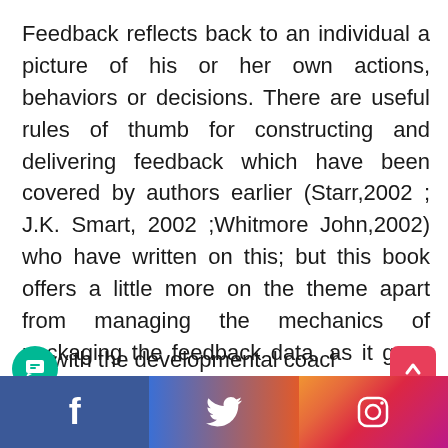Feedback reflects back to an individual a picture of his or her own actions, behaviors or decisions. There are useful rules of thumb for constructing and delivering feedback which have been covered by authors earlier (Starr,2002 ; J.K. Smart, 2002 ;Whitmore John,2002) who have written on this; but this book offers a little more on the theme apart from managing the mechanics of packaging the feedback data, as it goes beyond and covers in a very pragmatic way how to manage the emotional content of feedback, giving examples of coaching actions or statements in chapter nine.
…with the developmental coaching model pres…d